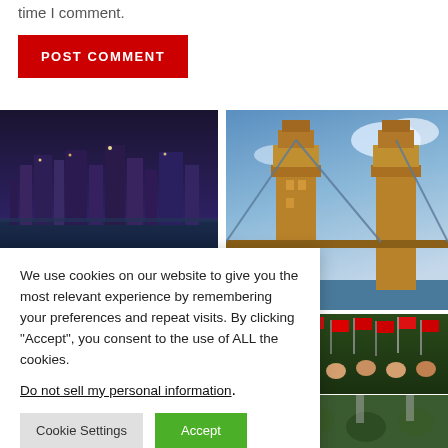time I comment.
POST COMMENT
[Figure (photo): Aerial view of London city skyline at dusk with river Thames]
[Figure (photo): Tower Bridge in London photographed from below against blue sky]
[Figure (photo): Crowd with British Union Jack flags at a public celebration]
[Figure (photo): Bottom left partial photo of crowd with flags]
[Figure (photo): Bottom right partial photo]
We use cookies on our website to give you the most relevant experience by remembering your preferences and repeat visits. By clicking “Accept”, you consent to the use of ALL the cookies.
Do not sell my personal information.
Cookie Settings
Accept